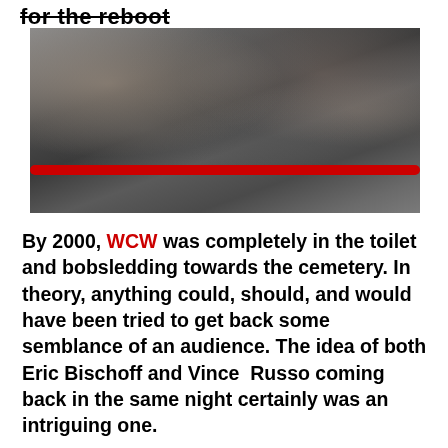for the reboot
[Figure (photo): Photograph of a group of people standing at a wrestling ring, with a red rope visible in the foreground. The crowd appears to be attending a wrestling event, with several individuals in dark clothing.]
By 2000, WCW was completely in the toilet and bobsledding towards the cemetery. In theory, anything could, should, and would have been tried to get back some semblance of an audience. The idea of both Eric Bischoff and Vince Russo coming back in the same night certainly was an intriguing one.